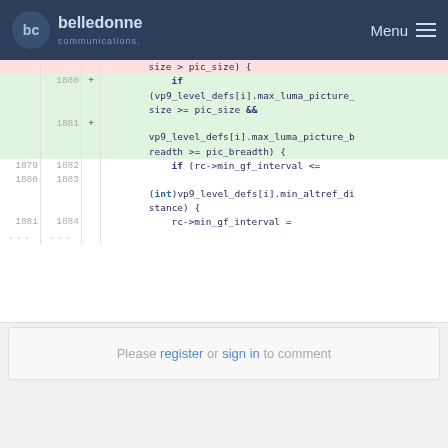belledonne communications — Menu
Code diff showing lines 1879-1884 with additions and context lines for VP9 level defs
Please register or sign in to comment